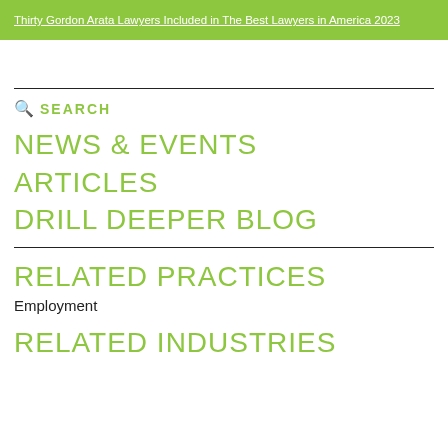Thirty Gordon Arata Lawyers Included in The Best Lawyers in America 2023
SEARCH
NEWS & EVENTS
ARTICLES
DRILL DEEPER BLOG
RELATED PRACTICES
Employment
RELATED INDUSTRIES